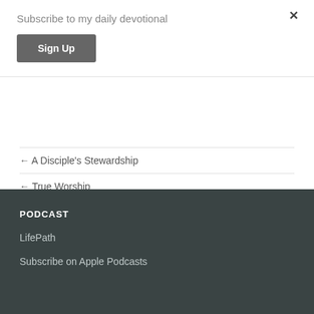Subscribe to my daily devotional
Sign Up
× (close button)
← A Disciple's Stewardship
← True Worship
PODCAST
LifePath
Subscribe on Apple Podcasts